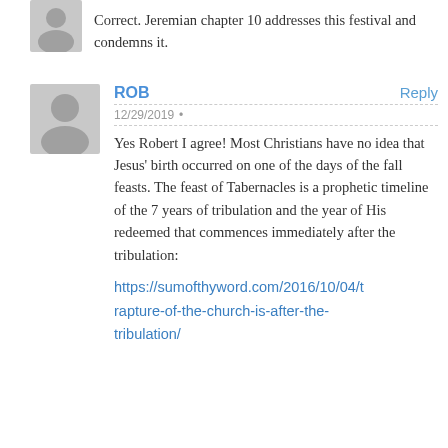Correct. Jeremian chapter 10 addresses this festival and condemns it.
ROB
12/29/2019
Yes Robert I agree! Most Christians have no idea that Jesus' birth occurred on one of the days of the fall feasts. The feast of Tabernacles is a prophetic timeline of the 7 years of tribulation and the year of His redeemed that commences immediately after the tribulation:

https://sumofthyword.com/2016/10/04/rapture-of-the-church-is-after-the-tribulation/